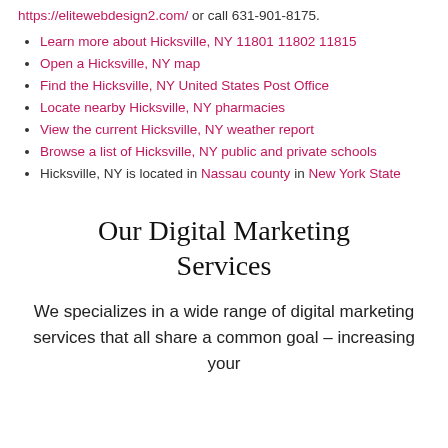https://elitewebdesign2.com/ or call 631-901-8175.
Learn more about Hicksville, NY 11801 11802 11815
Open a Hicksville, NY map
Find the Hicksville, NY United States Post Office
Locate nearby Hicksville, NY pharmacies
View the current Hicksville, NY weather report
Browse a list of Hicksville, NY public and private schools
Hicksville, NY is located in Nassau county in New York State
Our Digital Marketing Services
We specializes in a wide range of digital marketing services that all share a common goal – increasing your